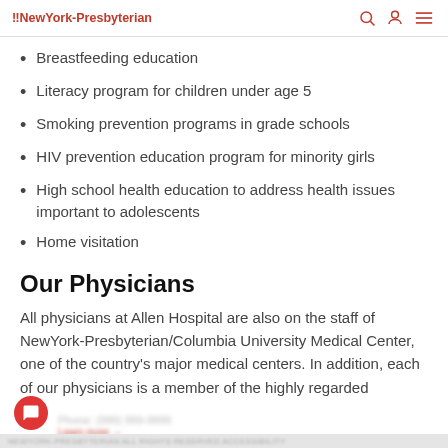NewYork-Presbyterian
Breastfeeding education
Literacy program for children under age 5
Smoking prevention programs in grade schools
HIV prevention education program for minority girls
High school health education to address health issues important to adolescents
Home visitation
Our Physicians
All physicians at Allen Hospital are also on the staff of NewYork-Presbyterian/Columbia University Medical Center, one of the country's major medical centers. In addition, each of our physicians is a member of the highly regarded